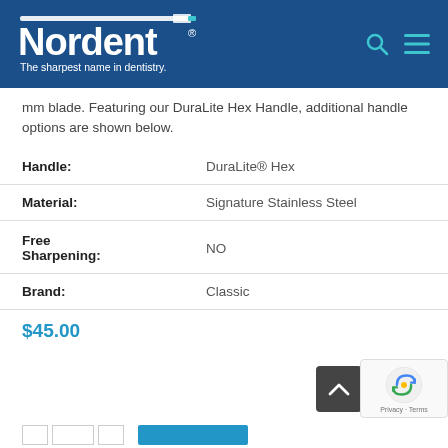[Figure (logo): Nordent logo — white text on dark blue background with dental instrument graphic and tagline 'The sharpest name in dentistry.']
mm blade. Featuring our DuraLite Hex Handle, additional handle options are shown below.
| Attribute | Value |
| --- | --- |
| Handle: | DuraLite® Hex |
| Material: | Signature Stainless Steel |
| Free Sharpening: | NO |
| Brand: | Classic |
$45.00